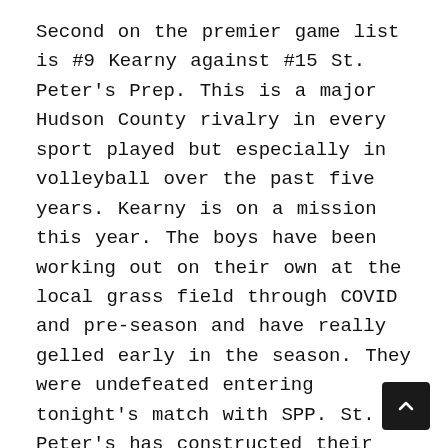Second on the premier game list is #9 Kearny against #15 St. Peter's Prep. This is a major Hudson County rivalry in every sport played but especially in volleyball over the past five years. Kearny is on a mission this year. The boys have been working out on their own at the local grass field through COVID and pre-season and have really gelled early in the season. They were undefeated entering tonight's match with SPP. St. Peter's has constructed their schedule a bit differently than Kearny. Kearny has remained in